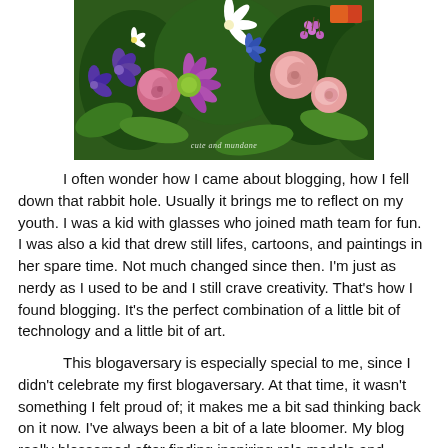[Figure (photo): Colorful flower arrangement photo with watermark text 'cute and mundane' at the bottom center]
I often wonder how I came about blogging, how I fell down that rabbit hole. Usually it brings me to reflect on my youth. I was a kid with glasses who joined math team for fun.  I was also a kid that drew still lifes, cartoons, and paintings in her spare time. Not much changed since then. I'm just as nerdy as I used to be and I still crave creativity. That's how I found blogging. It's the perfect combination of a little bit of technology and a little bit of art.
This blogaversary is especially special to me, since I didn't celebrate my first blogaversary. At that time, it wasn't something I felt proud of; it makes me a bit sad thinking back on it now. I've always been a bit of a late bloomer. My blog really blossomed after finding inspiring role models and finding a group of fellow bloggers who constantly influence